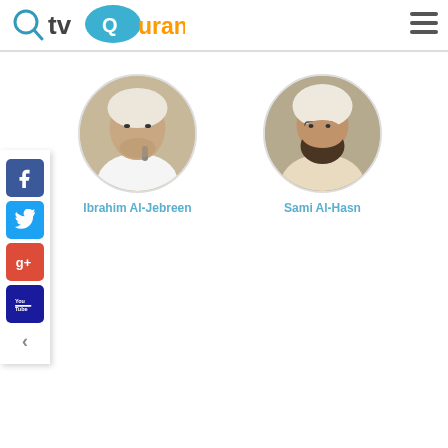[Figure (logo): tvQuran logo with magnifying glass icon and speech bubble]
[Figure (other): Hamburger menu icon (three horizontal lines)]
[Figure (other): Social media sidebar with Facebook, Twitter, Google+, YouTube icons and a left arrow]
[Figure (photo): Circular portrait photo of Ibrahim Al-Jebreen]
Ibrahim Al-Jebreen
[Figure (photo): Circular portrait photo of Sami Al-Hasn]
Sami Al-Hasn